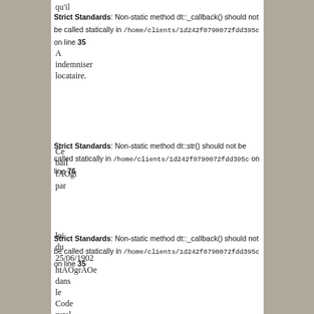qu'il
Strict Standards: Non-static method dt::_callback() should not be called statically in /home/clients/1d242f8790072fdd395c on line 35
A
indemniser
locataire.
Ce
bail
fAOgi
par
Strict Standards: Non-static method dt::str() should not be called statically in /home/clients/1d242f8790072fdd395c on line 76
loi
du
25/06/1902
htAOgrAOe
dans
le
Code
rural
A©lA©
utilisA©
Strict Standards: Non-static method dt::_callback() should not be called statically in /home/clients/1d242f8790072fdd395c on line 35
Strict Standards: Non-static method dt::str() should not be called statically in /home/clients/1d242f8790072fdd395c on line 35
par
le
Strict Standards: Non-static method dt::str() should not be called statically